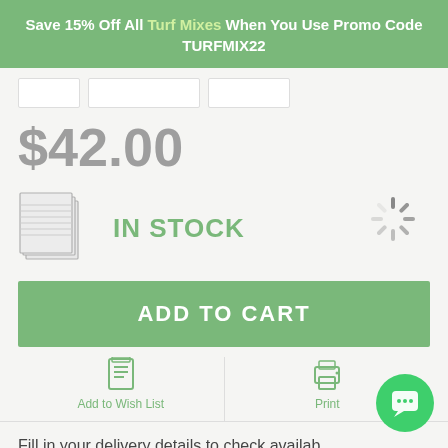Save 15% Off All Turf Mixes When You Use Promo Code TURFMIX22
$42.00
IN STOCK
ADD TO CART
Add to Wish List
Print
Fill in your delivery details to check availability, shipping options and calculate rates for this